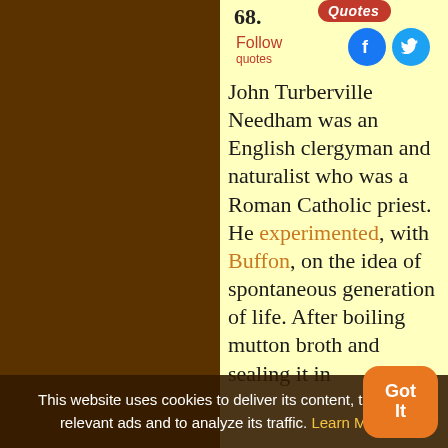68.
Quotes
Follow quotes
John Turberville Needham was an English clergyman and naturalist who was a Roman Catholic priest. He experimented, with Buffon, on the idea of spontaneous generation of life. After boiling mutton broth and sealing it in sealed it in glass containers, which were stored for a few days, then reopened, he
This website uses cookies to deliver its content, to show relevant ads and to analyze its traffic. Learn More
Got It